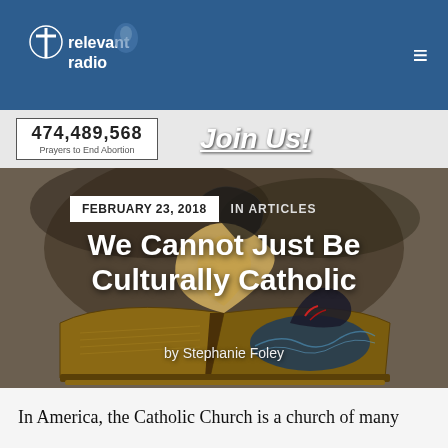relevant radio
474,489,568
Prayers to End Abortion
Join Us!
[Figure (illustration): An open book with dramatic illustrated scene of a sea creature rising from stormy waters, fantasy illustration style, dark moody tones]
FEBRUARY 23, 2018   IN ARTICLES
We Cannot Just Be Culturally Catholic
by Stephanie Foley
In America, the Catholic Church is a church of many